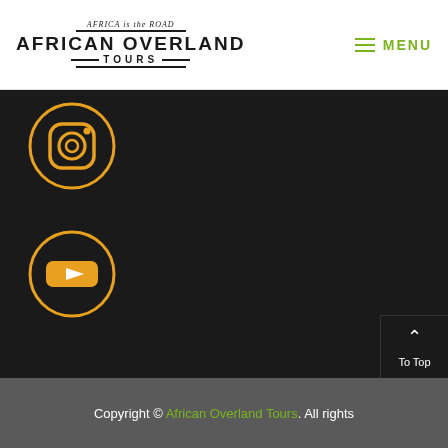[Figure (logo): African Overland Tours logo with text 'AFRICA is the ROAD' above 'AFRICAN OVERLAND TOURS']
≡ MENU
[Figure (illustration): Instagram icon in orange circle on dark background]
[Figure (illustration): YouTube icon in orange circle on dark background]
∧ To Top
Copyright © African Overland Tours. All rights